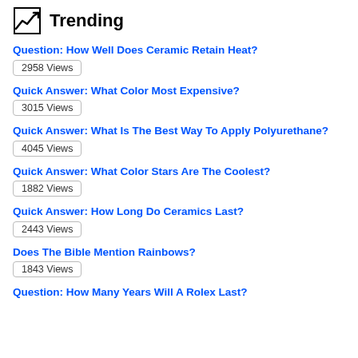Trending
Question: How Well Does Ceramic Retain Heat?
2958 Views
Quick Answer: What Color Most Expensive?
3015 Views
Quick Answer: What Is The Best Way To Apply Polyurethane?
4045 Views
Quick Answer: What Color Stars Are The Coolest?
1882 Views
Quick Answer: How Long Do Ceramics Last?
2443 Views
Does The Bible Mention Rainbows?
1843 Views
Question: How Many Years Will A Rolex Last?